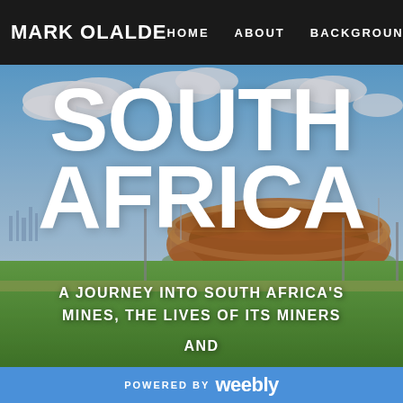MARK OLALDE | HOME | ABOUT | BACKGROUND
[Figure (photo): Aerial/ground-level photo of FNB Stadium (Soccer City) in Johannesburg, South Africa, with blue sky and clouds in the background and green fields in the foreground]
SOUTH AFRICA
A JOURNEY INTO SOUTH AFRICA'S MINES, THE LIVES OF ITS MINERS AND
POWERED BY weebly